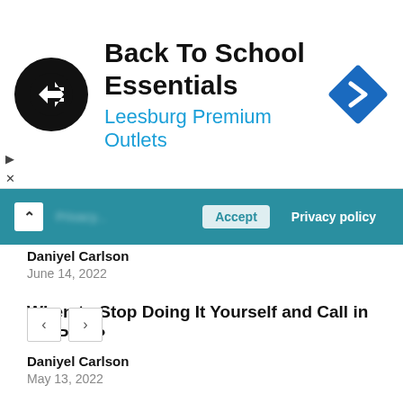[Figure (infographic): Advertisement banner for 'Back To School Essentials' at Leesburg Premium Outlets. Contains a circular black logo with a white double-arrow symbol, bold title text, blue subtitle, and a blue diamond-shaped navigation icon on the right.]
[Figure (screenshot): Teal/blue cookie consent bar with Accept button and Privacy policy link, partially obscured. Toggle arrow on the left.]
Daniyel Carlson
June 14, 2022
When to Stop Doing It Yourself and Call in the Pros?
Daniyel Carlson
May 13, 2022